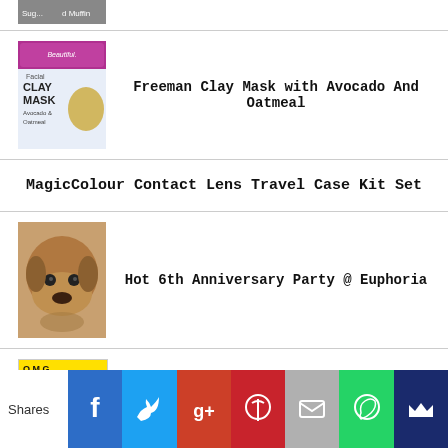[Figure (photo): Partial thumbnail of a person at top of page]
Freeman Clay Mask with Avocado And Oatmeal
MagicColour Contact Lens Travel Case Kit Set
Hot 6th Anniversary Party @ Euphoria
O.M.G. Charity Play @ KDU
Shares | Facebook | Twitter | Google+ | Pinterest | Email | WhatsApp | Crown